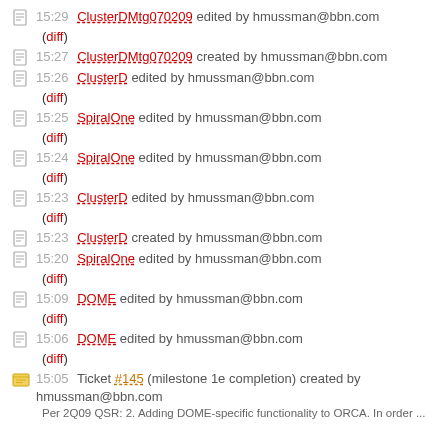15:29 ClusterDMtg070209 edited by hmussman@bbn.com (diff)
15:27 ClusterDMtg070209 created by hmussman@bbn.com
15:26 ClusterD edited by hmussman@bbn.com (diff)
15:25 SpiralOne edited by hmussman@bbn.com (diff)
15:24 SpiralOne edited by hmussman@bbn.com (diff)
15:23 ClusterD edited by hmussman@bbn.com (diff)
15:23 ClusterD created by hmussman@bbn.com
15:20 SpiralOne edited by hmussman@bbn.com (diff)
15:09 DOME edited by hmussman@bbn.com (diff)
15:06 DOME edited by hmussman@bbn.com (diff)
15:05 Ticket #145 (milestone 1e completion) created by hmussman@bbn.com
Per 2Q09 QSR: 2. Adding DOME-specific functionality to ORCA. In order ...